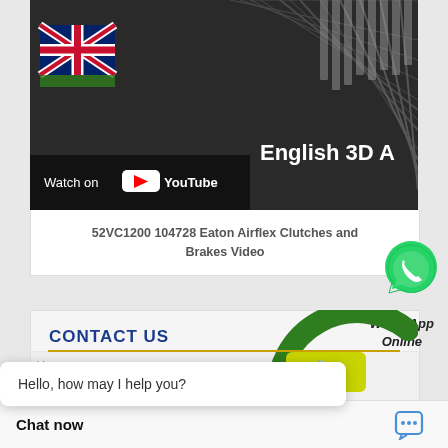[Figure (screenshot): YouTube video thumbnail showing English 3D A animation with UK flag and Watch on YouTube button, for 52VC1200 104728 Eaton Airflex Clutches and Brakes Video]
52VC1200 104728 Eaton Airflex Clutches and Brakes Video
[Figure (logo): WhatsApp green phone icon bubble]
CONTACT US
WhatsApp Online
×
Hello, how may I help you?
[Figure (logo): Green and yellow circular logo]
Chat now